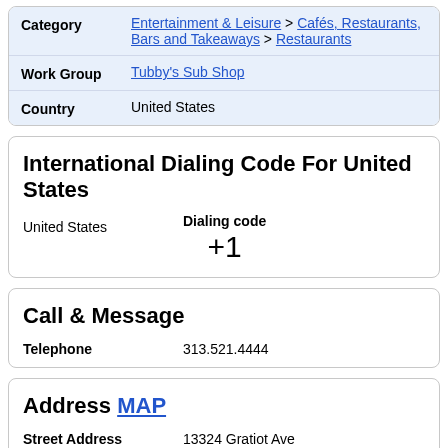| Category | Entertainment & Leisure > Cafés, Restaurants, Bars and Takeaways > Restaurants |
| Work Group | Tubby's Sub Shop |
| Country | United States |
International Dialing Code For United States
United States  Dialing code +1
Call & Message
| Telephone | 313.521.4444 |
Address MAP
| Street Address | 13324 Gratiot Ave |
| City | Detroit |